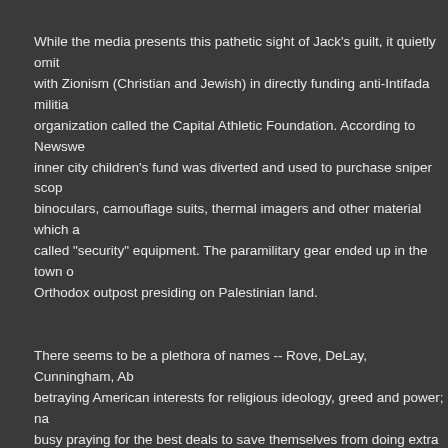While the media presents this pathetic sight of Jack's guilt, it quietly omits with Zionism (Christian and Jewish) in directly funding anti-Intifada militia organization called the Capital Athletic Foundation. According to Newswe inner city children's fund was diverted and used to purchase sniper scop binoculars, camouflage suits, thermal imagers and other material which a called "security" equipment. The paramilitary gear ended up in the town o Orthodox outpost presiding on Palestinian land.
There seems to be a plethora of names -- Rove, DeLay, Cunningham, Ab betraying American interests for religious ideology, greed and power; na busy praying for the best deals to save themselves from doing extra time
How can the American public measure the true expense such scoundrels in money desperately needed elsewhere? But while we Americans suffe corrupt officials and their endless prosecutions, how does the Republic m American lives because of the wrongful exchanges of intelligence betwe Office of Special Plans, Wolfowitz-Feith and the Zionist special interest lo
Slowly, and with great resistance towards getting at the truth, the who, h reasons that American sons and daughters were so rashly sent into an e suicide "mission" in Iraq begins to unravel the complex lies and deceits g public.